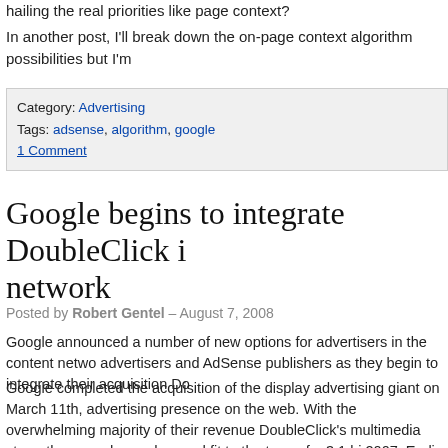hailing the real priorities like page context?
In another post, I'll break down the on-page context algorithm possibilities but I'm
Category: Advertising
Tags: adsense, algorithm, google
1 Comment
Google begins to integrate DoubleClick into the content network
Posted by Robert Gentel – August 7, 2008
Google announced a number of new options for advertisers in the content network for advertisers and AdSense publishers as they begin to integrate their acquisition Do
Google completed the acquisition of the display advertising giant on March 11th, advertising presence on the web. With the overwhelming majority of their revenues DoubleClick's multimedia strengths were deemed a good fit to the tune of a 3.1 bi 2007. Earlier this year the regulatory hurdles were cleared and Google's advertise the merging of these ad platforms. The additional options for the advertisers may Google content network with its legion of AdSense publishers to give the content Google announced:
Frequency Capping: Enables advertisers to control the number of times a user sees an ad. This option enhances the overall browsing experience on Google content network sites because they will no longer see
Frequency Reporting: Provides insight into the number of people who have